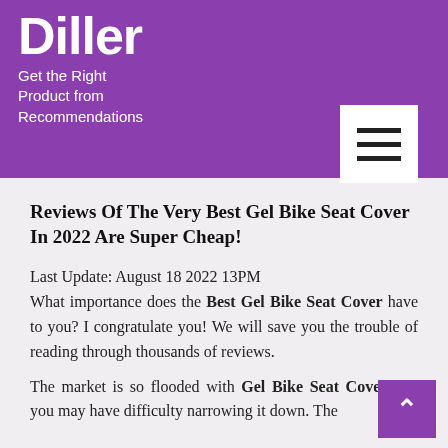Diller
Get the Right Product from Recommendations
Reviews Of The Very Best Gel Bike Seat Cover In 2022 Are Super Cheap!
Last Update: August 18 2022 13PM
What importance does the Best Gel Bike Seat Cover have to you? I congratulate you! We will save you the trouble of reading through thousands of reviews.
The market is so flooded with Gel Bike Seat Cover that you may have difficulty narrowing it down. The